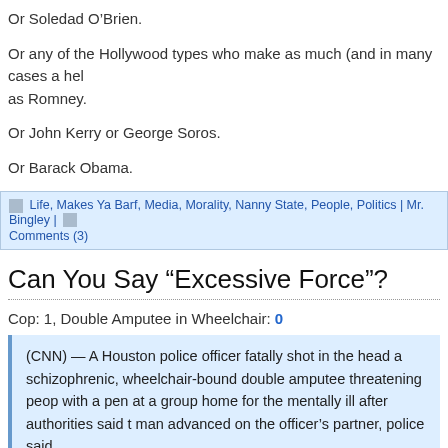Or Soledad O’Brien.
Or any of the Hollywood types who make as much (and in many cases a hel as Romney.
Or John Kerry or George Soros.
Or Barack Obama.
Life, Makes Ya Barf, Media, Morality, Nanny State, People, Politics | Mr. Bingley | Comments (3)
Can You Say “Excessive Force”?
Cop: 1, Double Amputee in Wheelchair: 0
(CNN) — A Houston police officer fatally shot in the head a schizophrenic, wheelchair-bound double amputee threatening peop with a pen at a group home for the mentally ill after authorities said the man advanced on the officer’s partner, police said. …Claunch, who lost an arm and a leg in a train accident, trapped o officer with his wheelchair in the corner of a room "where he couldn't out,"